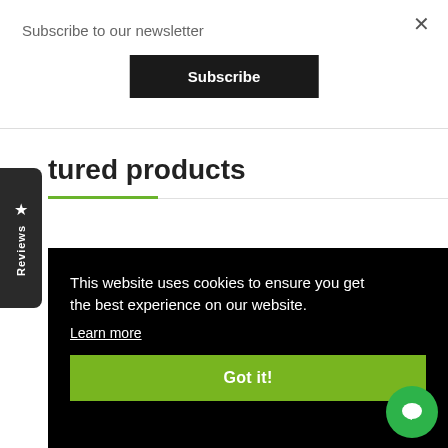Subscribe to our newsletter
Subscribe
× (close button)
tured products
[Figure (other): Reviews tab on left side with star icon and vertical text 'Reviews']
This website uses cookies to ensure you get the best experience on our website.
Learn more
Got it!
GUT TO Rs10,200